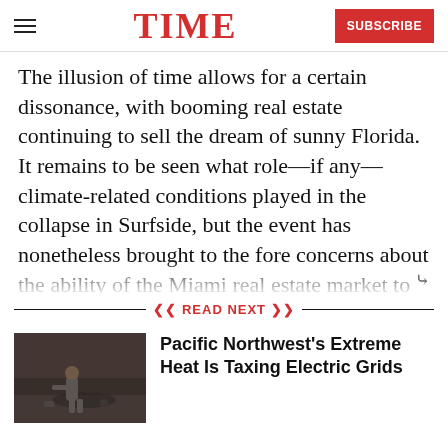TIME | SUBSCRIBE
The illusion of time allows for a certain dissonance, with booming real estate continuing to sell the dream of sunny Florida. It remains to be seen what role—if any—climate-related conditions played in the collapse in Surfside, but the event has nonetheless brought to the fore concerns about the ability of the Miami real estate market to sustain its pace of growth as the region grows increasingly
READ NEXT
[Figure (photo): Photo of person in extreme heat outdoors]
Pacific Northwest's Extreme Heat Is Taxing Electric Grids